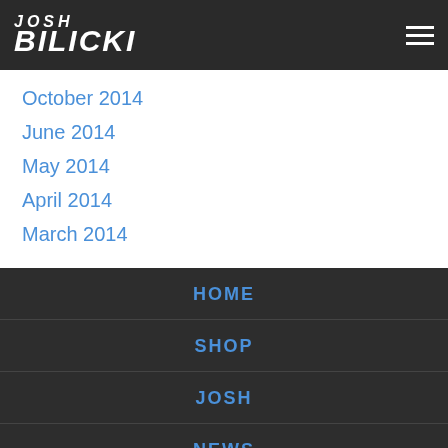JOSH BILICKI
October 2014
June 2014
May 2014
April 2014
March 2014
HOME
SHOP
JOSH
NEWS